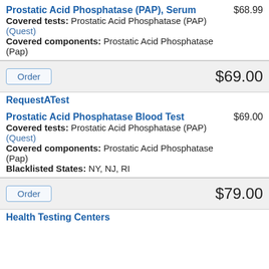Prostatic Acid Phosphatase (PAP), Serum $68.99
Covered tests: Prostatic Acid Phosphatase (PAP) (Quest)
Covered components: Prostatic Acid Phosphatase (Pap)
Order $69.00
RequestATest
Prostatic Acid Phosphatase Blood Test $69.00
Covered tests: Prostatic Acid Phosphatase (PAP) (Quest)
Covered components: Prostatic Acid Phosphatase (Pap)
Blacklisted States: NY, NJ, RI
Order $79.00
Health Testing Centers